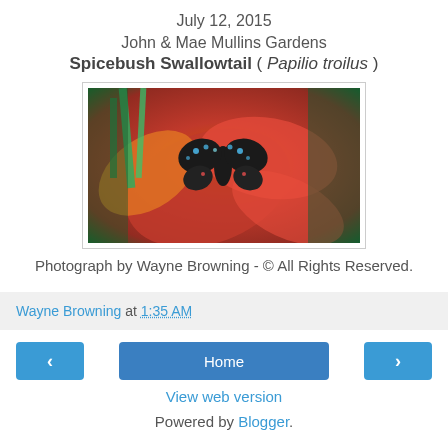July 12, 2015
John & Mae Mullins Gardens
Spicebush Swallowtail ( Papilio troilus )
[Figure (photo): A Spicebush Swallowtail butterfly resting on a red and orange daylily flower, with green foliage in the background. Photo credit: Wayne Browning.]
Photograph by Wayne Browning - © All Rights Reserved.
Wayne Browning at 1:35 AM
Home
View web version
Powered by Blogger.